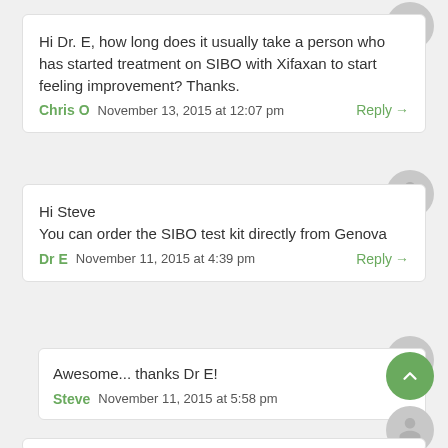Hi Dr. E, how long does it usually take a person who has started treatment on SIBO with Xifaxan to start feeling improvement? Thanks.
Chris O   November 13, 2015 at 12:07 pm   Reply →
Hi Steve
You can order the SIBO test kit directly from Genova
Dr E   November 11, 2015 at 4:39 pm   Reply →
Awesome... thanks Dr E!
Steve   November 11, 2015 at 5:58 pm   R→